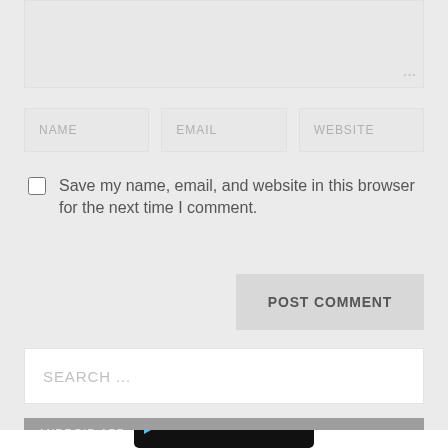[Figure (screenshot): Textarea input box (empty, light gray background) with resize handle at bottom-right]
NAME
EMAIL
WEBSITE
Save my name, email, and website in this browser for the next time I comment.
POST COMMENT
SEARCH ...
ANDROID APP
[Figure (screenshot): Google Play Store badge with GET IT ON text and play button triangle icon on black background]